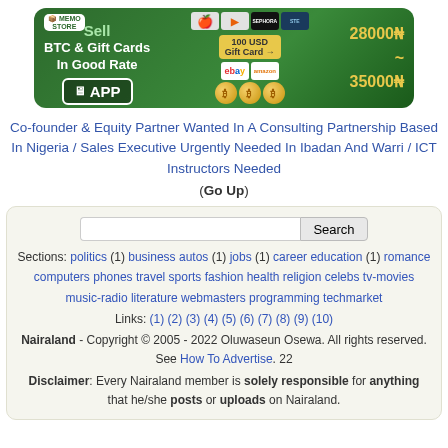[Figure (illustration): Advertisement banner for selling BTC and Gift Cards app, green background with card icons, coins, and exchange rate 28000₦ to 35000₦]
Co-founder & Equity Partner Wanted In A Consulting Partnership Based In Nigeria / Sales Executive Urgently Needed In Ibadan And Warri / ICT Instructors Needed
(Go Up)
Sections: politics (1) business autos (1) jobs (1) career education (1) romance computers phones travel sports fashion health religion celebs tv-movies music-radio literature webmasters programming techmarket
Links: (1) (2) (3) (4) (5) (6) (7) (8) (9) (10)
Nairaland - Copyright © 2005 - 2022 Oluwaseun Osewa. All rights reserved. See How To Advertise. 22
Disclaimer: Every Nairaland member is solely responsible for anything that he/she posts or uploads on Nairaland.